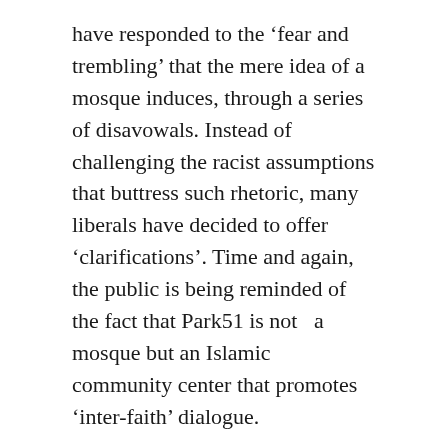have responded to the 'fear and trembling' that the mere idea of a mosque induces, through a series of disavowals. Instead of challenging the racist assumptions that buttress such rhetoric, many liberals have decided to offer 'clarifications'. Time and again, the public is being reminded of the fact that Park51 is not  a mosque but an Islamic community center that promotes 'inter-faith' dialogue.
Daisy Khan and Imam Rauf, the leading figures behind the Park51 initiative, have not only repeated this mantra, but have in fact produced it. When liberal defenders have wittingly or unwittingly referred to Park51 as a mosque, the response from folks at the Cordoba Initiative has been gratitude in the form of this corrective: thank you for your support, but Park51